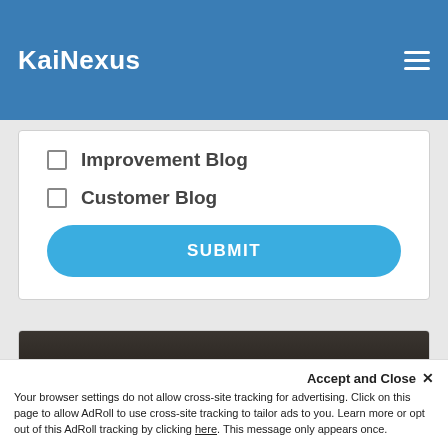KaiNexus
Improvement Blog
Customer Blog
SUBMIT
[Figure (photo): Dark background image with a glowing golden light source at the bottom center]
Accept and Close ×
Your browser settings do not allow cross-site tracking for advertising. Click on this page to allow AdRoll to use cross-site tracking to tailor ads to you. Learn more or opt out of this AdRoll tracking by clicking here. This message only appears once.